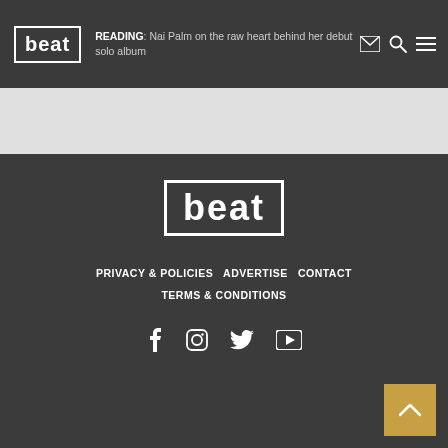beat | READING: Nai Palm on the raw heart behind her debut solo album
[Figure (logo): Beat magazine logo - white text in bordered box]
[Figure (logo): Large beat logo in footer]
PRIVACY & POLICIES  ADVERTISE  CONTACT  TERMS & CONDITIONS
[Figure (infographic): Social media icons: Facebook, Instagram, Twitter, YouTube]